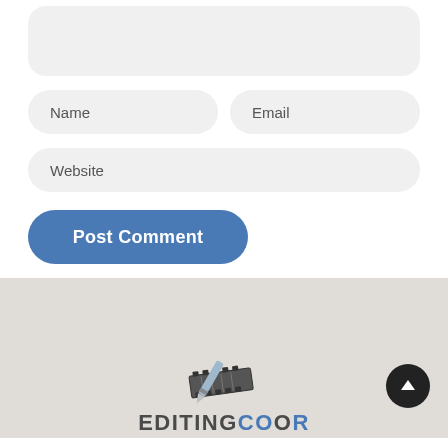[Figure (screenshot): Large textarea input field with rounded corners and light gray background, partially visible at top of page]
Name
Email
Website
Post Comment
[Figure (logo): EditingCoop logo with film strip graphic above the text, showing 'EDITINGCO' in dark gray and 'O' and 'R' in blue]